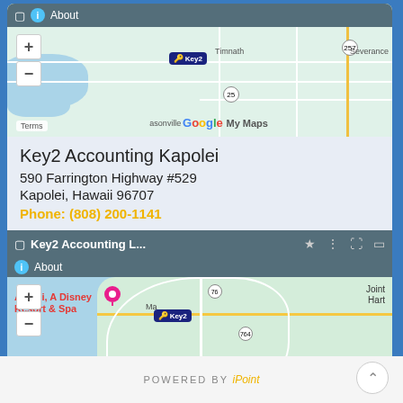[Figure (map): Google My Maps showing Key2 Accounting location near Timnath and Severance area]
Key2 Accounting Kapolei
590 Farrington Highway #529
Kapolei, Hawaii 96707
Phone: (808) 200-1141
[Figure (map): Google My Maps showing Key2 Accounting L... location near Aulani A Disney Resort & Spa and Ewa Beach]
POWERED BY iPoint